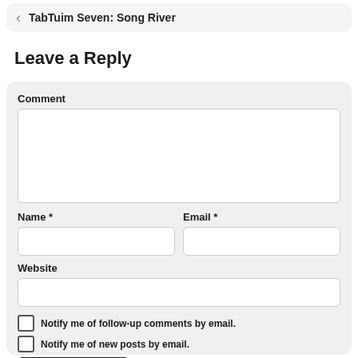TabTuim Seven: Song River
Leave a Reply
Comment
Name *
Email *
Website
Notify me of follow-up comments by email.
Notify me of new posts by email.